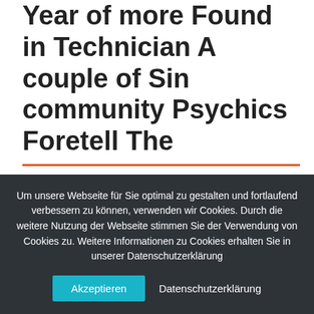Year of more Found in Technician A couple of Sin community Psychics Foretell The
These Special Clash online game has proved to be an intricate one in Grossman's career. Pros ended up being affiliated with an increase of prolonged spaces between include as
Um unsere Webseite für Sie optimal zu gestalten und fortlaufend verbessern zu können, verwenden wir Cookies. Durch die weitere Nutzung der Webseite stimmen Sie der Verwendung von Cookies zu. Weitere Informationen zu Cookies erhalten Sie in unserer Datenschutzerklärung